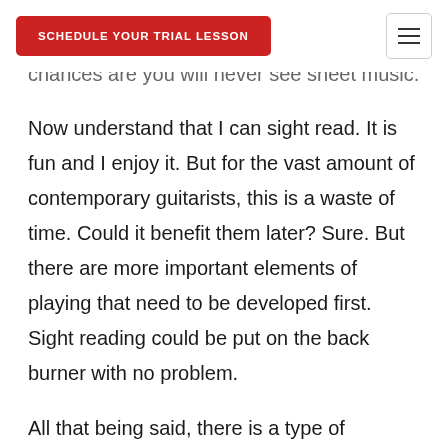SCHEDULE YOUR TRIAL LESSON
chances are you will never see sheet music.
Now understand that I can sight read. It is fun and I enjoy it. But for the vast amount of contemporary guitarists, this is a waste of time. Could it benefit them later? Sure. But there are more important elements of playing that need to be developed first. Sight reading could be put on the back burner with no problem.
All that being said, there is a type of notation that you need to know. Each student should be able to read rhythmic notation ( or note duration). This means you should be able to incorporate